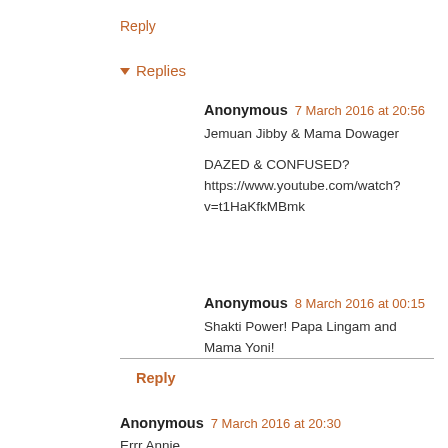Reply
▾ Replies
Anonymous 7 March 2016 at 20:56
Jemuan Jibby & Mama Dowager

DAZED & CONFUSED?
https://www.youtube.com/watch?v=t1HaKfkMBmk
Anonymous 8 March 2016 at 00:15
Shakti Power! Papa Lingam and Mama Yoni!
Reply
Anonymous 7 March 2016 at 20:30
Errr Annie.